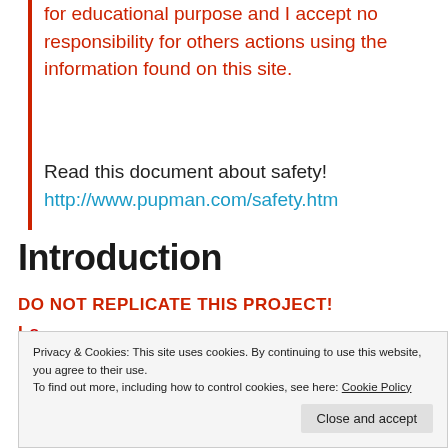for educational purpose and I accept no responsibility for others actions using the information found on this site.
Read this document about safety! http://www.pupman.com/safety.htm
Introduction
DO NOT REPLICATE THIS PROJECT!
Privacy & Cookies: This site uses cookies. By continuing to use this website, you agree to their use. To find out more, including how to control cookies, see here: Cookie Policy